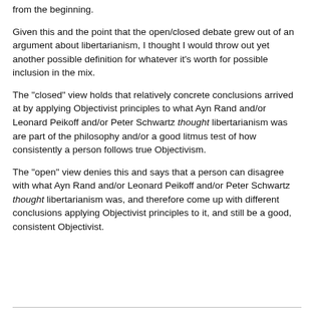from the beginning.
Given this and the point that the open/closed debate grew out of an argument about libertarianism, I thought I would throw out yet another possible definition for whatever it's worth for possible inclusion in the mix.
The "closed" view holds that relatively concrete conclusions arrived at by applying Objectivist principles to what Ayn Rand and/or Leonard Peikoff and/or Peter Schwartz thought libertarianism was are part of the philosophy and/or a good litmus test of how consistently a person follows true Objectivism.
The "open" view denies this and says that a person can disagree with what Ayn Rand and/or Leonard Peikoff and/or Peter Schwartz thought libertarianism was, and therefore come up with different conclusions applying Objectivist principles to it, and still be a good, consistent Objectivist.